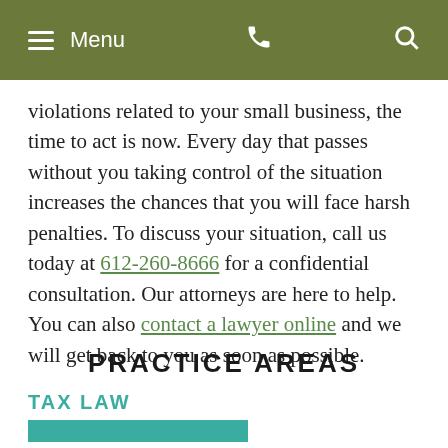Menu
violations related to your small business, the time to act is now. Every day that passes without you taking control of the situation increases the chances that you will face harsh penalties. To discuss your situation, call us today at 612-260-8666 for a confidential consultation. Our attorneys are here to help. You can also contact a lawyer online and we will get back to you as soon as possible.
PRACTICE AREAS
TAX LAW